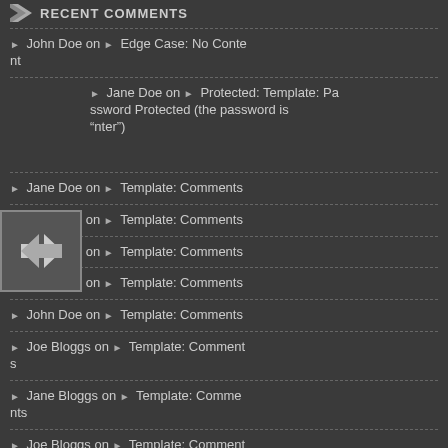RECENT COMMENTS
John Doe on ▶ Edge Case: No Content
Jane Doe on ▶ Protected: Template: Password Protected (the password is "enter")
Jane Doe on ▶ Template: Comments
John Doe on ▶ Template: Comments
John Doe on ▶ Template: Comments
Jane Doe on ▶ Template: Comments
John Doe on ▶ Template: Comments
Joe Bloggs on ▶ Template: Comments
Jane Bloggs on ▶ Template: Comments
Joe Bloggs on ▶ Template: Comments